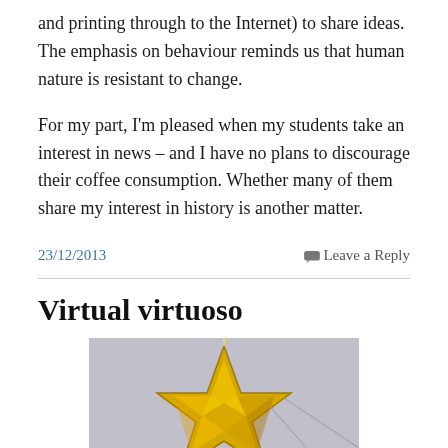and printing through to the Internet) to share ideas. The emphasis on behaviour reminds us that human nature is resistant to change.
For my part, I'm pleased when my students take an interest in news – and I have no plans to discourage their coffee consumption. Whether many of them share my interest in history is another matter.
23/12/2013
Leave a Reply
Virtual virtuoso
[Figure (photo): A gold illuminated star ornament photographed against a light background.]